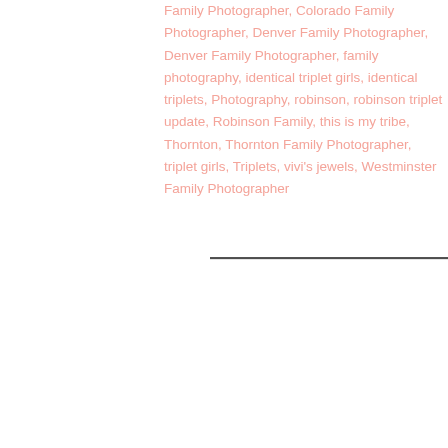Family Photographer, Colorado Family Photographer, Denver Family Photographer, Denver Family Photographer, family photography, identical triplet girls, identical triplets, Photography, robinson, robinson triplet update, Robinson Family, this is my tribe, Thornton, Thornton Family Photographer, triplet girls, Triplets, vivi's jewels, Westminster Family Photographer
[Figure (other): A thin horizontal dark line/stroke element, appearing like a scanned artifact or decorative divider line.]